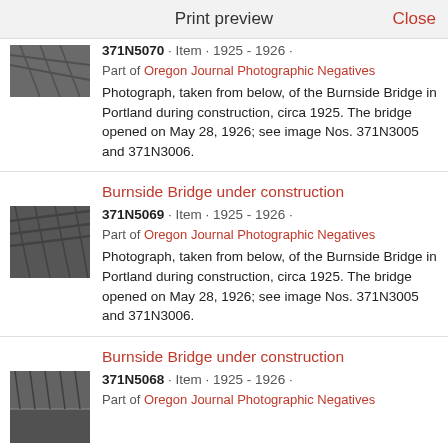Print preview
[Figure (photo): Black and white thumbnail photo of Burnside Bridge under construction, viewed from below]
371N5070 · Item · 1925 - 1926 ·
Part of Oregon Journal Photographic Negatives
Photograph, taken from below, of the Burnside Bridge in Portland during construction, circa 1925. The bridge opened on May 28, 1926; see image Nos. 371N3005 and 371N3006.
Burnside Bridge under construction
[Figure (photo): Black and white thumbnail photo of Burnside Bridge under construction, structural beams visible]
371N5069 · Item · 1925 - 1926 ·
Part of Oregon Journal Photographic Negatives
Photograph, taken from below, of the Burnside Bridge in Portland during construction, circa 1925. The bridge opened on May 28, 1926; see image Nos. 371N3005 and 371N3006.
Burnside Bridge under construction
[Figure (photo): Black and white thumbnail photo of Burnside Bridge under construction with water reflection visible]
371N5068 · Item · 1925 - 1926 ·
Part of Oregon Journal Photographic Negatives